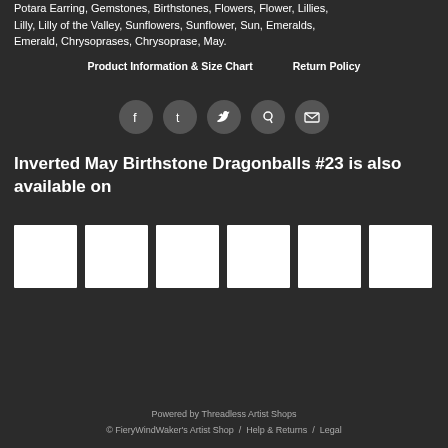Potara Earring, Gemstones, Birthstones, Flowers, Flower, Lillies, Lilly, Lilly of the Valley, Sunflowers, Sunflower, Sun, Emeralds, Emerald, Chrysoprases, Chrysoprase, May.
Product Information & Size Chart    Return Policy
[Figure (other): Social media share icons: Facebook, Tumblr, Twitter, Pinterest, Email — dark circular buttons]
Inverted May Birthstone Dragonballs #23 is also available on
[Figure (other): Six white product thumbnail image placeholders in a horizontal row]
Powered by Threadless Artist Shops
© FieryWindWaker's Artist Shop / Help & Returns / Legal